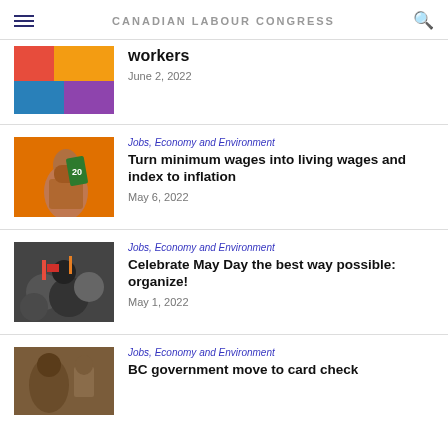CANADIAN LABOUR CONGRESS
workers
June 2, 2022
Jobs, Economy and Environment
Turn minimum wages into living wages and index to inflation
May 6, 2022
Jobs, Economy and Environment
Celebrate May Day the best way possible: organize!
May 1, 2022
Jobs, Economy and Environment
BC government move to card check